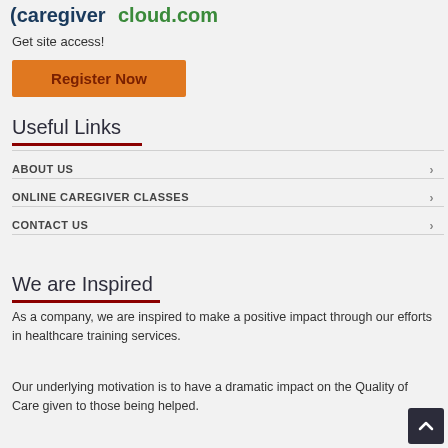[Figure (logo): Caregiver cloud/training website logo partial view]
Get site access!
Register Now
Useful Links
ABOUT US
ONLINE CAREGIVER CLASSES
CONTACT US
We are Inspired
As a company, we are inspired to make a positive impact through our efforts in healthcare training services.
Our underlying motivation is to have a dramatic impact on the Quality of Care given to those being helped.